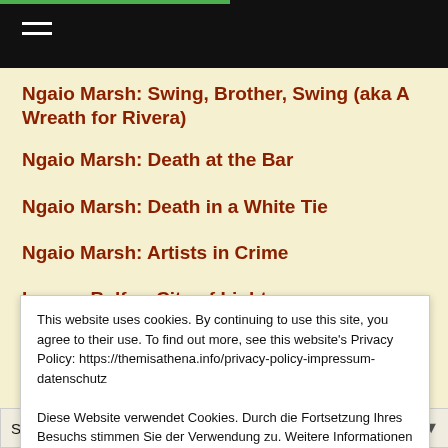Ngaio Marsh: Swing, Brother, Swing (aka A Wreath for Rivera)
Ngaio Marsh: Death at the Bar
Ngaio Marsh: Death in a White Tie
Ngaio Marsh: Artists in Crime
Lauren Belfer: City of Light
This website uses cookies. By continuing to use this site, you agree to their use. To find out more, see this website's Privacy Policy: https://themisathena.info/privacy-policy-impressum-datenschutz

Diese Website verwendet Cookies. Durch die Fortsetzung Ihres Besuchs stimmen Sie der Verwendung zu. Weitere Informationen finden Sie auf der Seite Impressum und Datenschutz: https://themisathena.info/privacy-policy-impressum-datenschutz Privacy & Cookie Policy
Close and accept
Select Month